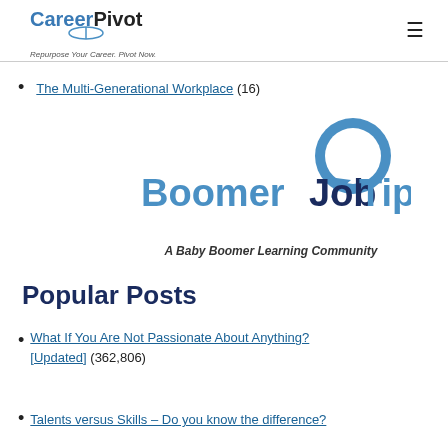CareerPivot — Repurpose Your Career. Pivot Now.
The Multi-Generational Workplace (16)
[Figure (logo): BoomerJobTips logo with speech bubble icon and tagline 'A Baby Boomer Learning Community']
Popular Posts
What If You Are Not Passionate About Anything? [Updated] (362,806)
Talents versus Skills – Do you know the difference?